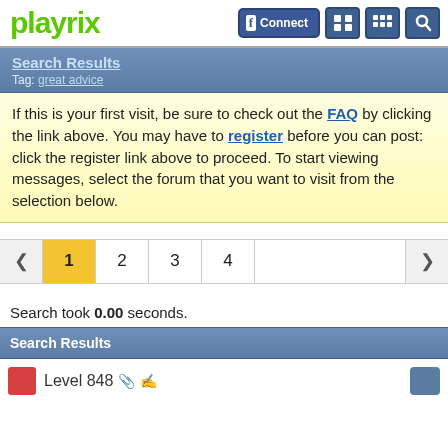[Figure (logo): Playrix logo in green, with Facebook Connect button and icon buttons at top right]
Search Results
Tag: great advice
If this is your first visit, be sure to check out the FAQ by clicking the link above. You may have to register before you can post: click the register link above to proceed. To start viewing messages, select the forum that you want to visit from the selection below.
Search took 0.00 seconds.
Search Results
Level 848